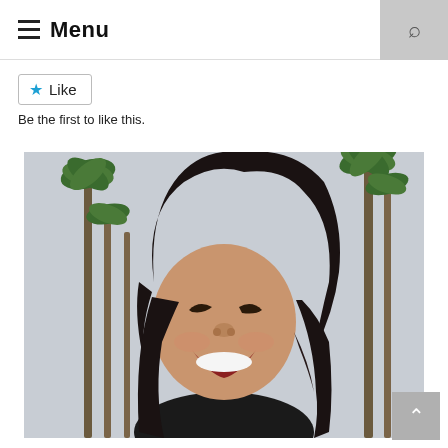Menu
Like
Be the first to like this.
[Figure (photo): A young woman with dark hair laughing joyfully outdoors with palm trees in the blurred background, overcast sky.]